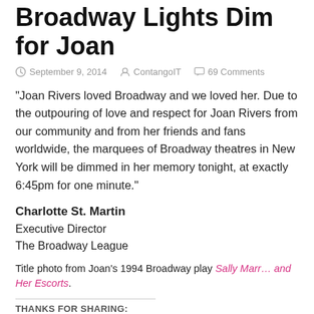Broadway Lights Dim for Joan
September 9, 2014   ContangoIT   69 Comments
“Joan Rivers loved Broadway and we loved her. Due to the outpouring of love and respect for Joan Rivers from our community and from her friends and fans worldwide, the marquees of Broadway theatres in New York will be dimmed in her memory tonight, at exactly 6:45pm for one minute.”
Charlotte St. Martin
Executive Director
The Broadway League
Title photo from Joan’s 1994 Broadway play Sally Marr… and Her Escorts.
THANKS FOR SHARING: